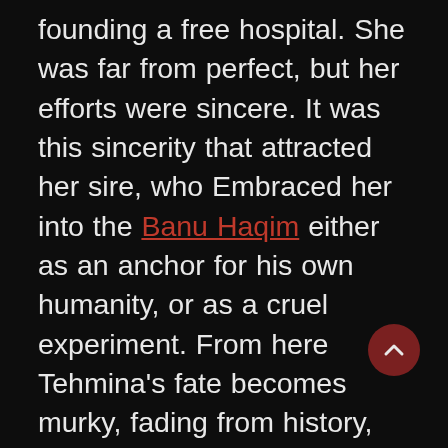founding a free hospital. She was far from perfect, but her efforts were sincere. It was this sincerity that attracted her sire, who Embraced her into the Banu Haqim either as an anchor for his own humanity, or as a cruel experiment. From here Tehmina's fate becomes murky, fading from history, until she ran afoul of Ur-Shulgi (the ancient childe of Haqim), who saw her faith as sacrilege against his sire. Disposing of Tehmina was small work for a creature of Ur-Shulgi's sorcerous prowess, but he underestimated the impact his actions would have. Her violent death elevated Tehmina to a martyr amongst Zoroastrian Cainites, inspiring other